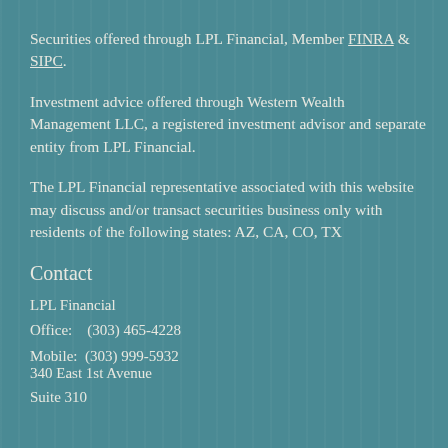Securities offered through LPL Financial, Member FINRA & SIPC.
Investment advice offered through Western Wealth Management LLC, a registered investment advisor and separate entity from LPL Financial.
The LPL Financial representative associated with this website may discuss and/or transact securities business only with residents of the following states: AZ, CA, CO, TX
Contact
LPL Financial
Office:   (303) 465-4228
Mobile:  (303) 999-5932
340 East 1st Avenue
Suite 310